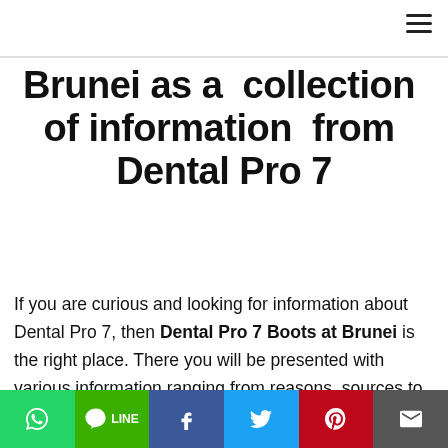Brunei as a collection of information from Dental Pro 7
If you are curious and looking for information about Dental Pro 7, then Dental Pro 7 Boots at Brunei is the right place. There you will be presented with various information ranging from reasons, sources to everything related to Dental Pro 7 products such as Dental Pro 7 as advertised
Dental Pro 7 Boots at Brunei: